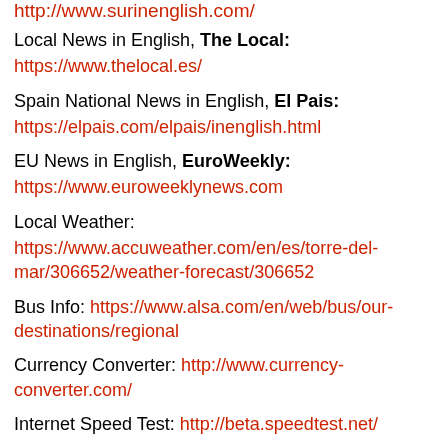http://www.surinenglish.com/
Local News in English, The Local:
https://www.thelocal.es/
Spain National News in English, El Pais:
https://elpais.com/elpais/inenglish.html
EU News in English, EuroWeekly:
https://www.euroweeklynews.com
Local Weather:
https://www.accuweather.com/en/es/torre-del-mar/306652/weather-forecast/306652
Bus Info: https://www.alsa.com/en/web/bus/our-destinations/regional
Currency Converter: http://www.currency-converter.com/
Internet Speed Test: http://beta.speedtest.net/